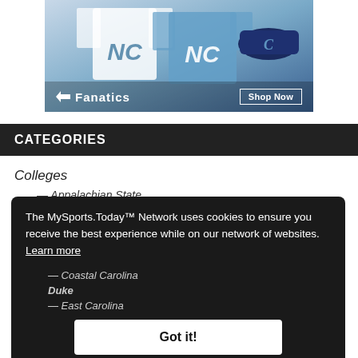[Figure (photo): Fanatics advertisement banner showing UNC Tar Heels jerseys and hats in light blue and white, with Fanatics logo and 'Shop Now' button]
CATEGORIES
Colleges
Appalachian State
Citadel
Clemson
Coastal Carolina
Duke
East Carolina
Furman
The MySports.Today™ Network uses cookies to ensure you receive the best experience while on our network of websites. Learn more
Got it!